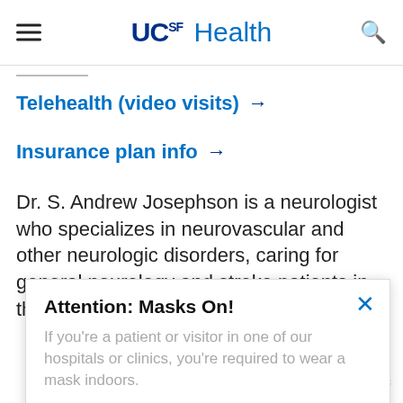UCSF Health
Telehealth (video visits) →
Insurance plan info →
Dr. S. Andrew Josephson is a neurologist who specializes in neurovascular and other neurologic disorders, caring for general neurology and stroke patients in the hospital as
Attention: Masks On!
If you're a patient or visitor in one of our hospitals or clinics, you're required to wear a mask indoors.